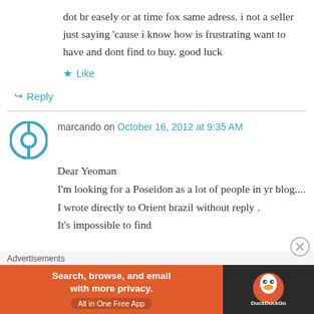dot br easely or at time fox same adress. i not a seller just saying 'cause i know how is frustrating want to have and dont find to buy. good luck
★ Like
↳ Reply
marcando on October 16, 2012 at 9:35 AM
Dear Yeoman
I'm looking for a Poseidon as a lot of people in yr blog....
I wrote directly to Orient brazil without reply .
It's impossible to find
[Figure (other): Advertisement banner for DuckDuckGo: orange section reads 'Search, browse, and email with more privacy. All in One Free App' with DuckDuckGo logo on dark right panel]